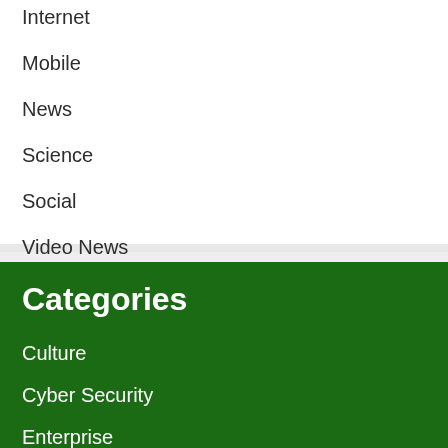Internet
Mobile
News
Science
Social
Video News
Categories
Culture
Cyber Security
Enterprise